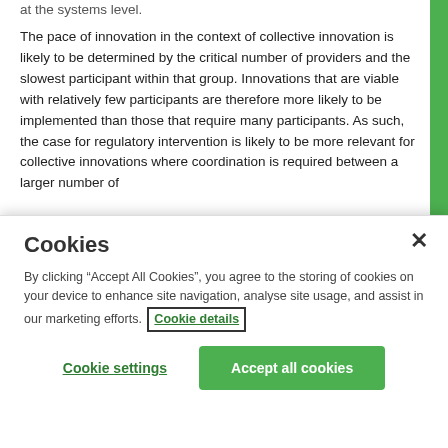at the systems level. The pace of innovation in the context of collective innovation is likely to be determined by the critical number of providers and the slowest participant within that group. Innovations that are viable with relatively few participants are therefore more likely to be implemented than those that require many participants. As such, the case for regulatory intervention is likely to be more relevant for collective innovations where coordination is required between a larger number of
Cookies
By clicking “Accept All Cookies”, you agree to the storing of cookies on your device to enhance site navigation, analyse site usage, and assist in our marketing efforts. Cookie details
Cookie settings
Accept all cookies